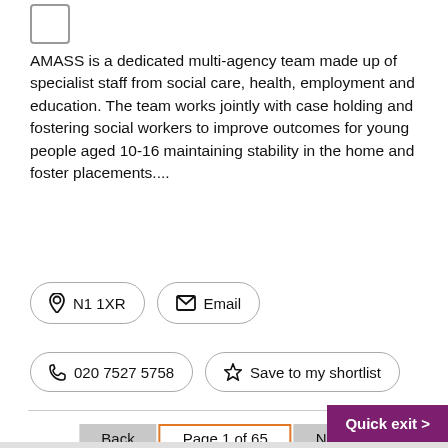[Figure (other): Checkbox input element (empty, unchecked)]
AMASS is a dedicated multi-agency team made up of specialist staff from social care, health, employment and education. The team works jointly with case holding and fostering social workers to improve outcomes for young people aged 10-16 maintaining stability in the home and foster placements....
N1 1XR
Email
020 7527 5758
Save to my shortlist
Back
Page 1 of 65
Next
Quick exit >